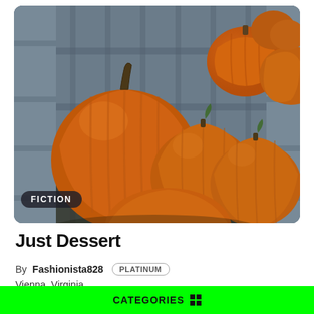[Figure (photo): Orange pumpkins piled inside a weathered gray wooden crate or bin, photographed outdoors. Several large round pumpkins are visible, with more pumpkins in the background. The wood is worn and bluish-gray in color.]
FICTION
Just Dessert
By Fashionista828 PLATINUM
Vienna, Virginia
0 comments
CATEGORIES